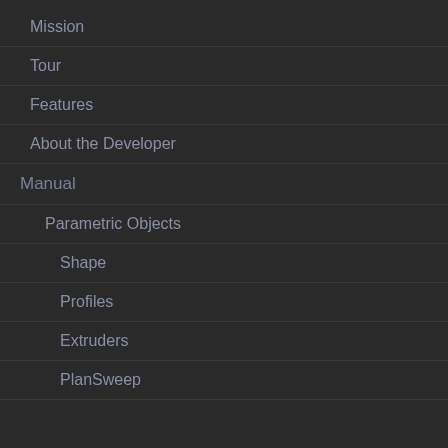Mission
Tour
Features
About the Developer
Manual
Parametric Objects
Shape
Profiles
Extruders
PlanSweep